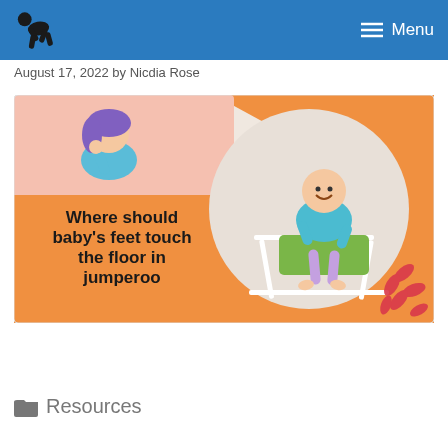Menu
August 17, 2022 by Nicdia Rose
[Figure (infographic): Infographic banner showing a cartoon woman with purple hair thinking, on an orange and pink background, with bold text reading 'Where should baby's feet touch the floor in jumperoo', and a circular photo of a smiling baby sitting in a jumperoo activity center, with red leaf decorations on the right.]
Resources